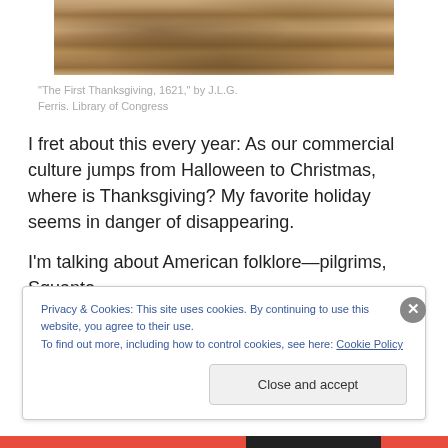[Figure (photo): Painting depicting a historical scene, likely The First Thanksgiving, 1621, showing figures gathered outdoors with warm earthy tones.]
“The First Thanksgiving, 1621,” by J.L.G. Ferris. Library of Congress
I fret about this every year: As our commercial culture jumps from Halloween to Christmas, where is Thanksgiving? My favorite holiday seems in danger of disappearing.
I’m talking about American folklore—pilgrims, Squanto,
Privacy & Cookies: This site uses cookies. By continuing to use this website, you agree to their use.
To find out more, including how to control cookies, see here: Cookie Policy
Close and accept